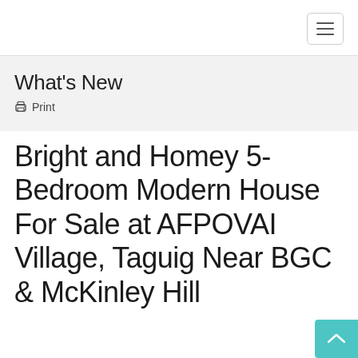≡ (hamburger menu)
What's New
🖨 Print
Bright and Homey 5-Bedroom Modern House For Sale at AFPOVAI Village, Taguig Near BGC & McKinley Hill